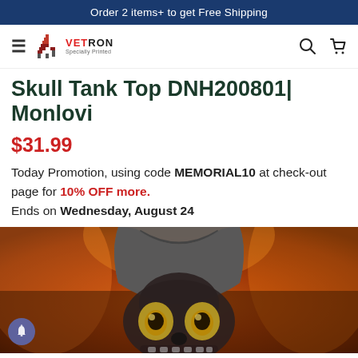Order 2 items+ to get Free Shipping
[Figure (logo): Vetron brand logo with red graphic icon and brand name text]
Skull Tank Top DNH200801| Monlovi
$31.99
Today Promotion, using code MEMORIAL10 at check-out page for 10% OFF more. Ends on Wednesday, August 24
[Figure (photo): Product photo of a skull-themed tank top with dramatic orange and fire background, showing the collar and chest area of the shirt with skull face design]